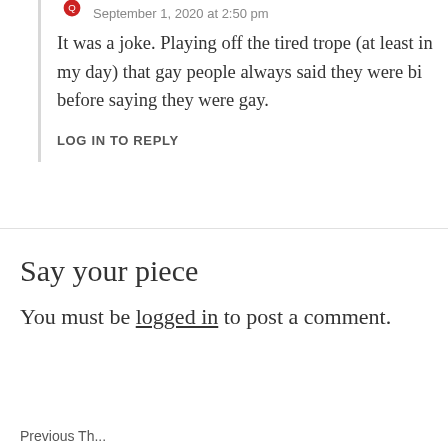September 1, 2020 at 2:50 pm
It was a joke. Playing off the tired trope (at least in my day) that gay people always said they were bi before saying they were gay.
LOG IN TO REPLY
Say your piece
You must be logged in to post a comment.
Previous Th...